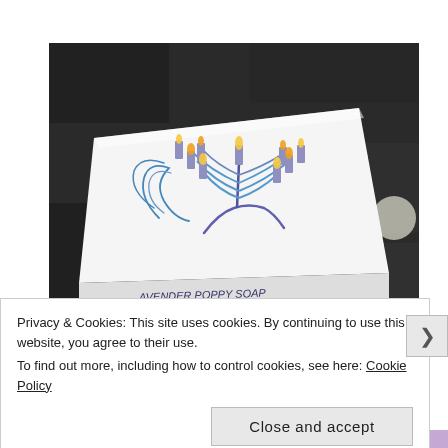[Figure (photo): A white rectangular bar of soap sitting on a dark granite surface. The soap has a hand-drawn menorah (Hanukkah candelabrum) illustration in blue and purple with yellow/orange flames on the candles. Text on the side of the soap reads 'LAVENDER POPPY SOAP' and a date below it.]
Privacy & Cookies: This site uses cookies. By continuing to use this website, you agree to their use.
To find out more, including how to control cookies, see here: Cookie Policy
Close and accept